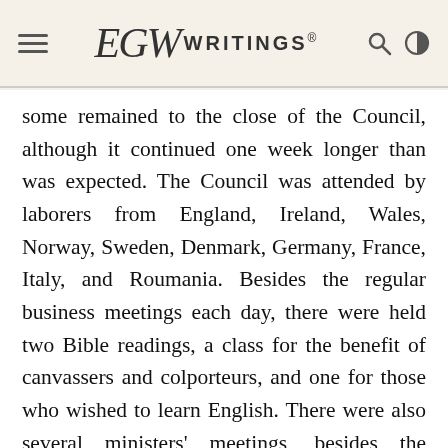EGW WRITINGS®
some remained to the close of the Council, although it continued one week longer than was expected. The Council was attended by laborers from England, Ireland, Wales, Norway, Sweden, Denmark, Germany, France, Italy, and Roumania. Besides the regular business meetings each day, there were held two Bible readings, a class for the benefit of canvassers and colporteurs, and one for those who wished to learn English. There were also several ministers' meetings, besides the sermons and regular morning meetings for social worship. I felt urged by the Spirit of God throughout the meetings to impress upon all the importance of cultivating love and unity. I tried to present the danger of building up separate interests between different nationalities